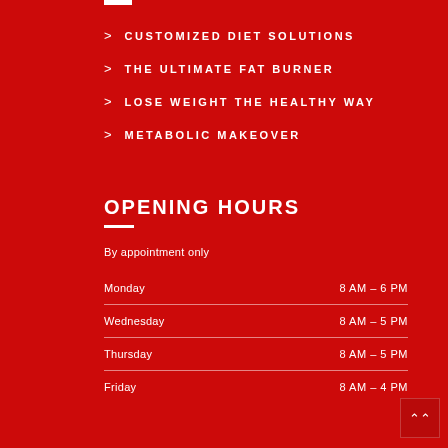> CUSTOMIZED DIET SOLUTIONS
> THE ULTIMATE FAT BURNER
> LOSE WEIGHT THE HEALTHY WAY
> METABOLIC MAKEOVER
OPENING HOURS
By appointment only
Monday  8 AM – 6 PM
Wednesday  8 AM – 5 PM
Thursday  8 AM – 5 PM
Friday  8 AM – 4 PM